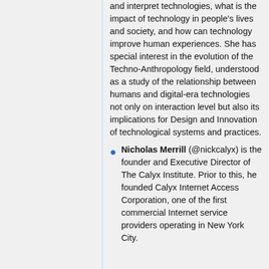and interpret technologies, what is the impact of technology in people's lives and society, and how can technology improve human experiences. She has special interest in the evolution of the Techno-Anthropology field, understood as a study of the relationship between humans and digital-era technologies not only on interaction level but also its implications for Design and Innovation of technological systems and practices.
Nicholas Merrill (@nickcalyx) is the founder and Executive Director of The Calyx Institute. Prior to this, he founded Calyx Internet Access Corporation, one of the first commercial Internet service providers operating in New York City.